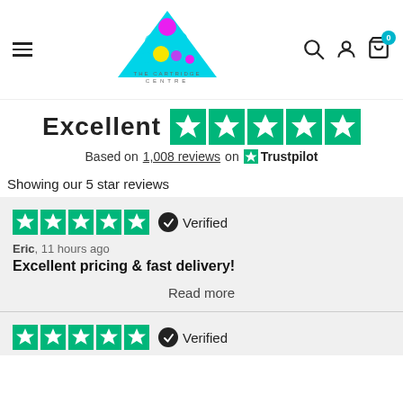[Figure (logo): The Cartridge Centre logo — colorful triangle with circles and text below]
Excellent
[Figure (other): Trustpilot 5 green star rating icons]
Based on 1,008 reviews on Trustpilot
Showing our 5 star reviews
[Figure (other): 5 green Trustpilot star icons — Verified]
Eric, 11 hours ago
Excellent pricing & fast delivery!
Read more
[Figure (other): 5 green Trustpilot star icons — Verified (second review)]